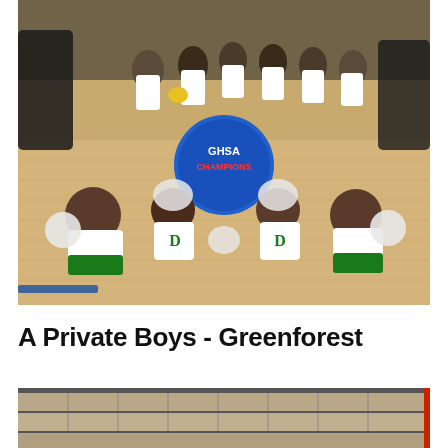[Figure (photo): Group photo of cheerleaders in green and white uniforms sitting on a basketball court floor, holding pom-poms and a GHSA Champions sign/trophy. Several adults stand in the background.]
A Private Boys - Greenforest
[Figure (photo): Partial view of what appears to be an indoor facility or arena with rows of beige/tan colored seating or panels visible.]